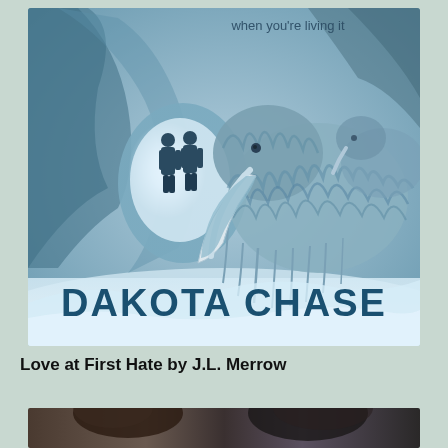[Figure (illustration): Book cover for 'Dakota Chase' showing two silhouetted figures in a glowing ice cave opening, with a large woolly mammoth in the foreground on a snowy icy landscape. Blue and white color palette. Text at top reads 'when you're living it' and large bold title 'DAKOTA CHASE' at the bottom of the cover.]
Love at First Hate by J.L. Merrow
[Figure (photo): Partial view of a photograph showing two people, cropped at the bottom of the page.]